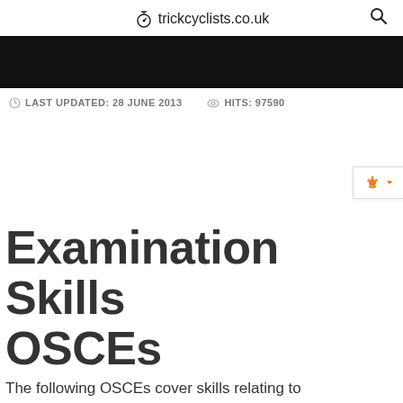trickcyclists.co.uk
[Figure (other): Black banner/header bar]
LAST UPDATED: 28 JUNE 2013   HITS: 97590
Examination Skills OSCEs
The following OSCEs cover skills relating to